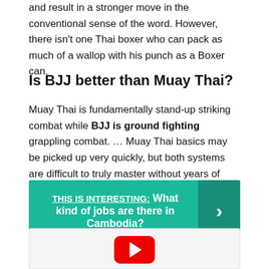and result in a stronger move in the conventional sense of the word. However, there isn't one Thai boxer who can pack as much of a wallop with his punch as a Boxer can.
Is BJJ better than Muay Thai?
Muay Thai is fundamentally stand-up striking combat while BJJ is ground fighting grappling combat. … Muay Thai basics may be picked up very quickly, but both systems are difficult to truly master without years of hard work and grit. They are both most effective in their respective arenas under their respective rules.
THIS IS INTERESTING:  What kind of jobs are there in Cambodia?
[Figure (other): Video embed box with YouTube play button at bottom]